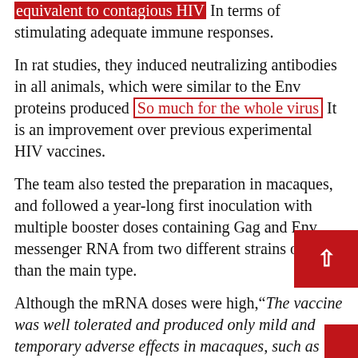equivalent to contagious HIV In terms of stimulating adequate immune responses.
In rat studies, they induced neutralizing antibodies in all animals, which were similar to the Env proteins produced So much for the whole virus It is an improvement over previous experimental HIV vaccines.
The team also tested the preparation in macaques, and followed a year-long first inoculation with multiple booster doses containing Gag and Env messenger RNA from two different strains of HIV than the main type.
Although the mRNA doses were high,"The vaccine was well tolerated and produced only mild and temporary adverse effects in macaques, such as Anorexia "Add note.
By week 58, the vaccinated macaques had developed measurable levels of neutralizing antibodies directed against most strains from a pool of 12 in addition. It